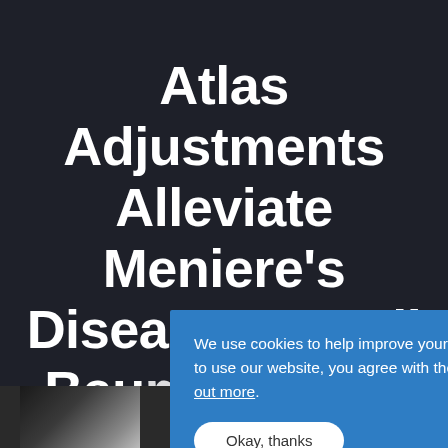Atlas Adjustments Alleviate Meniere's Disease By Neil Bau[mer, Ph.D.]
We use cookies to help improve your experience. If you continue to use our website, you agree with the usage of our cookies. Find out more.
Okay, thanks
[Figure (photo): Partial photo strip at the bottom of the page, showing a dark-toned image partially visible]